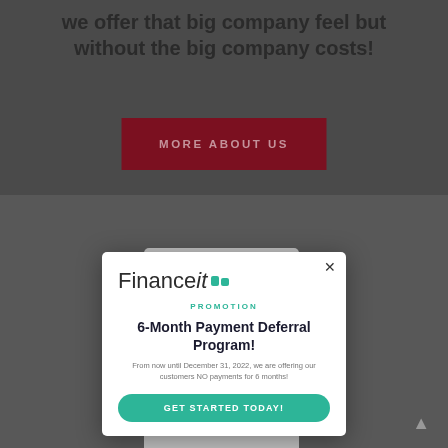we offer that big company feel but without the big company costs!
MORE ABOUT US
[Figure (screenshot): Financeit promotion modal popup showing 6-Month Payment Deferral Program with green get started button and close X button, overlaid on a dark background with FORTIS furnace unit]
PROMOTION
6-Month Payment Deferral Program!
From now until December 31, 2022, we are offering our customers NO payments for 6 months!
GET STARTED TODAY!